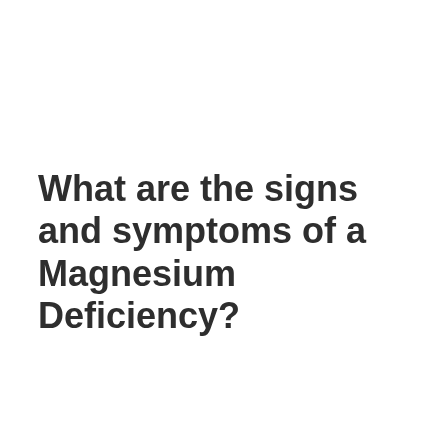What are the signs and symptoms of a Magnesium Deficiency?